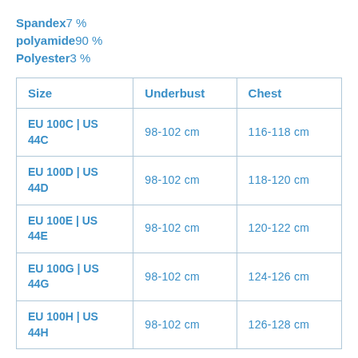Spandex 7 %
polyamide 90 %
Polyester 3 %
| Size | Underbust | Chest |
| --- | --- | --- |
| EU 100C | US 44C | 98-102 cm | 116-118 cm |
| EU 100D | US 44D | 98-102 cm | 118-120 cm |
| EU 100E | US 44E | 98-102 cm | 120-122 cm |
| EU 100G | US 44G | 98-102 cm | 124-126 cm |
| EU 100H | US 44H | 98-102 cm | 126-128 cm |